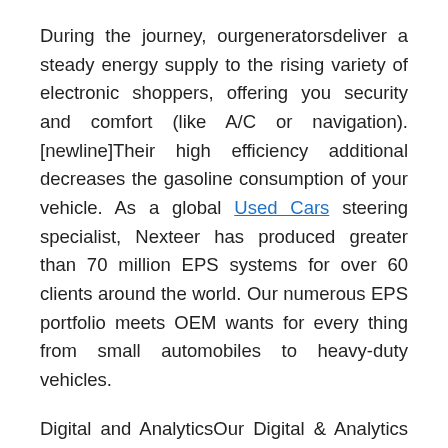During the journey, ourgeneratorsdeliver a steady energy supply to the rising variety of electronic shoppers, offering you security and comfort (like A/C or navigation). [newline]Their high efficiency additional decreases the gasoline consumption of your vehicle. As a global Used Cars steering specialist, Nexteer has produced greater than 70 million EPS systems for over 60 clients around the world. Our numerous EPS portfolio meets OEM wants for every thing from small automobiles to heavy-duty vehicles.
Digital and AnalyticsOur Digital & Analytics services helps design and build key platform elements of customers' Digital-Technology-Footprint ™ to power the Digital transformation journey. The automotive sector is in a state of flux – emerging expertise and fast-blurring boundaries between stakeholders are remodeling the landscape